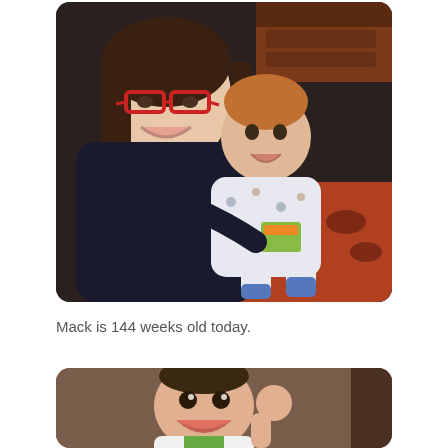[Figure (photo): A woman with dark hair and red-framed glasses smiling and hugging a toddler dressed in patterned pajamas holding a small book/toy. The toddler is also smiling. Background shows a rug with circular patterns and dark furniture.]
Mack is 144 weeks old today.
[Figure (photo): A smiling baby with fist raised, wearing a white and green outfit, photographed against a brown background.]